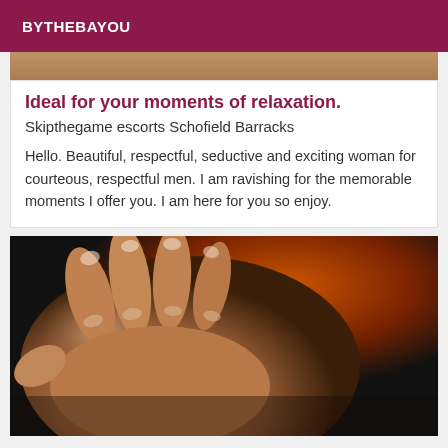BYTHEBAYOU
[Figure (photo): Close-up photo of hands giving a massage, partial view at top of card]
Ideal for your moments of relaxation.
Skipthegame escorts Schofield Barracks
Hello. Beautiful, respectful, seductive and exciting woman for courteous, respectful men. I am ravishing for the memorable moments I offer you. I am here for you so enjoy.
[Figure (photo): Close-up photograph of hands performing a massage on a person's back/shoulder area, warm brown tones with orange/red fabric visible in background]